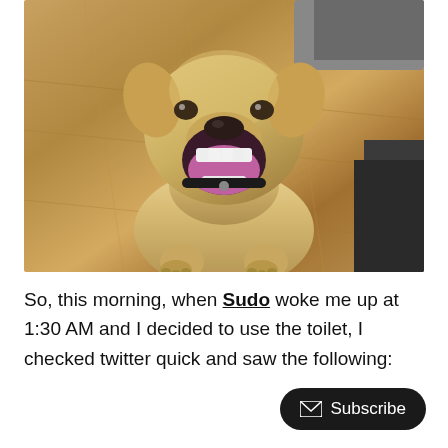[Figure (photo): A dog (Sudo) with mouth wide open yawning/barking, sitting on a wooden floor, looking up at camera. The dog appears to be a large breed with golden/beige fur. A dark chair or furniture is visible in the bottom-right corner, and a gray object is in the top-right corner.]
So, this morning, when Sudo woke me up at 1:30 AM and I decided to use the toilet, I checked twitter quick and saw the following: